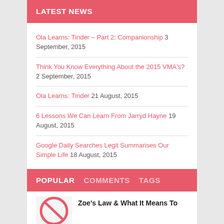LATEST NEWS
Ola Learns: Tinder – Part 2; Companionship  3 September, 2015
Think You Know Everything About the 2015 VMA's?  2 September, 2015
Ola Learns: Tinder  21 August, 2015
6 Lessons We Can Learn From Jarryd Hayne  19 August, 2015
Google Daily Searches Legit Summarises Our Simple Life  18 August, 2015
POPULAR  COMMENTS  TAGS
Zoe's Law & What It Means To